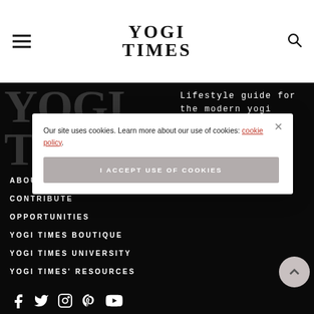YOGI TIMES
YOGI TIMES
Lifestyle guide for the modern yogi
ABOUT
CONTRIBUTE
OPPORTUNITIES
YOGI TIMES BOUTIQUE
YOGI TIMES UNIVERSITY
YOGI TIMES' RESOURCES
Our site uses cookies. Learn more about our use of cookies: cookie policy.
I ACCEPT USE OF COOKIES